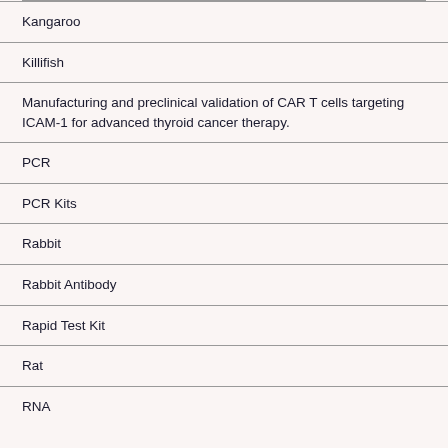Kangaroo
Killifish
Manufacturing and preclinical validation of CAR T cells targeting ICAM-1 for advanced thyroid cancer therapy.
PCR
PCR Kits
Rabbit
Rabbit Antibody
Rapid Test Kit
Rat
RNA